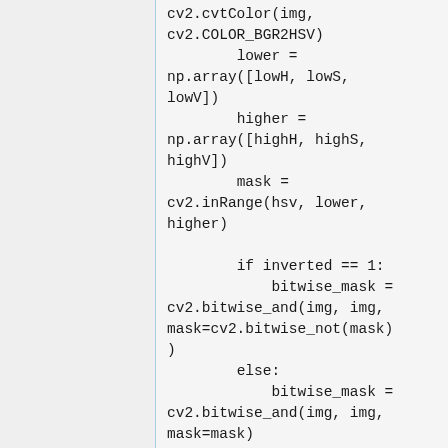cv2.cvtColor(img, cv2.COLOR_BGR2HSV)
        lower = np.array([lowH, lowS, lowV])
        higher = np.array([highH, highS, highV])
        mask = cv2.inRange(hsv, lower, higher)

        if inverted == 1:
            bitwise_mask = cv2.bitwise_and(img, img, mask=cv2.bitwise_not(mask))
        else:
            bitwise_mask = cv2.bitwise_and(img, img, mask=mask)

        # changing to gray color space
        gray = ...